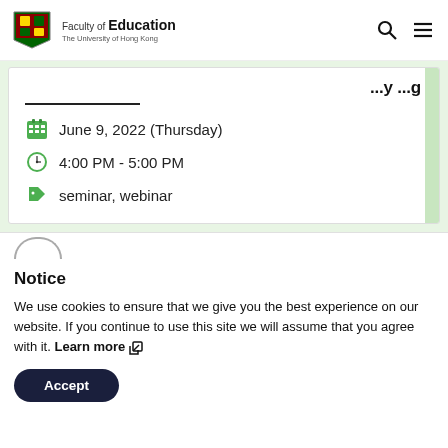Faculty of Education – The University of Hong Kong
June 9, 2022 (Thursday)
4:00 PM - 5:00 PM
seminar, webinar
Notice
We use cookies to ensure that we give you the best experience on our website. If you continue to use this site we will assume that you agree with it. Learn more
Accept